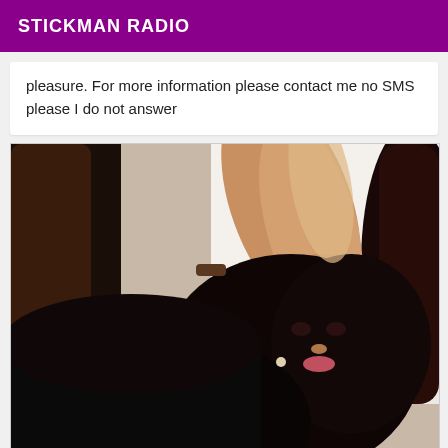STICKMAN RADIO
pleasure. For more information please contact me no SMS please I do not answer
[Figure (photo): Woman with dark hair lying on a white sofa, wearing a black outfit, with a dark fuzzy pillow visible on the right side.]